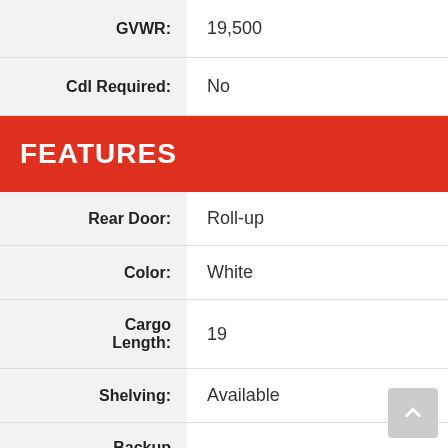| Label | Value |
| --- | --- |
| GVWR: | 19,500 |
| Cdl Required: | No |
FEATURES
| Label | Value |
| --- | --- |
| Rear Door: | Roll-up |
| Color: | White |
| Cargo Length: | 19 |
| Shelving: | Available |
| Backup Camera: | Yes |